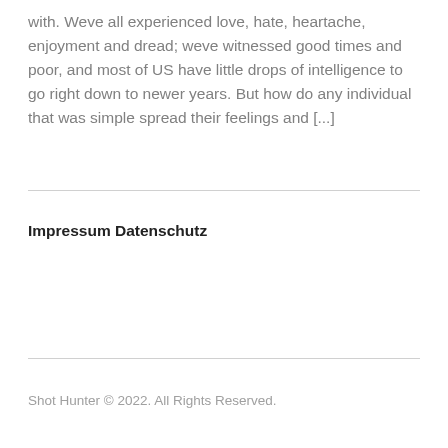with. Weve all experienced love, hate, heartache, enjoyment and dread; weve witnessed good times and poor, and most of US have little drops of intelligence to go right down to newer years. But how do any individual that was simple spread their feelings and [...]
Impressum Datenschutz
Shot Hunter © 2022. All Rights Reserved.